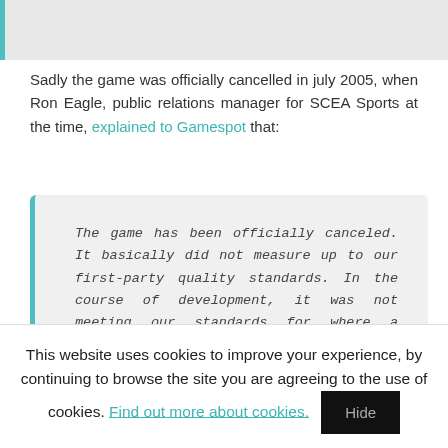[Figure (other): Partial image strip at top of page with teal left border]
Sadly the game was officially cancelled in july 2005, when Ron Eagle, public relations manager for SCEA Sports at the time, explained to Gamespot that:
The game has been officially canceled. It basically did not measure up to our first-party quality standards. In the course of development, it was not meeting our standards for where a product should be in its development cycle. It was purely an internal decision.
This website uses cookies to improve your experience, by continuing to browse the site you are agreeing to the use of cookies. Find out more about cookies. Hide